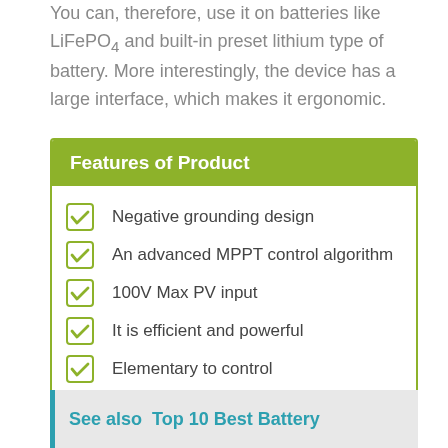You can, therefore, use it on batteries like LiFePO4 and built-in preset lithium type of battery. More interestingly, the device has a large interface, which makes it ergonomic.
Features of Product
Negative grounding design
An advanced MPPT control algorithm
100V Max PV input
It is efficient and powerful
Elementary to control
It is widely compatible
See also  Top 10 Best Battery